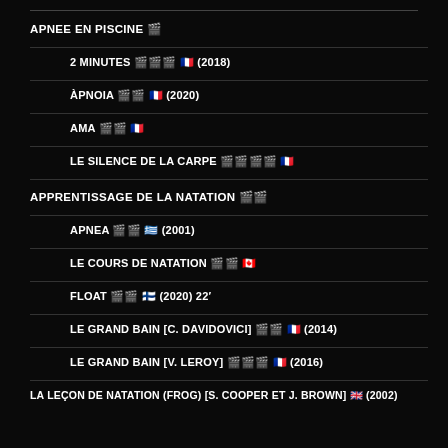APNEE EN PISCINE 🎬
2 MINUTES 🎬🎬🎬 🇫🇷 (2018)
ÀPNOIA 🎬🎬 🇫🇷 (2020)
AMA 🎬🎬 🇫🇷
LE SILENCE DE LA CARPE 🎬🎬🎬🎬 🇫🇷
APPRENTISSAGE DE LA NATATION 🎬🎬
APNEA 🎬🎬 🇬🇷 (2001)
LE COURS DE NATATION 🎬🎬 🇨🇦
FLOAT 🎬🎬 🇫🇮 (2020) 22′
LE GRAND BAIN [C. DAVIDOVICI] 🎬🎬 🇫🇷 (2014)
LE GRAND BAIN [V. LEROY] 🎬🎬🎬 🇫🇷 (2016)
LA LEÇON DE NATATION (FROG) [S. COOPER ET J. BROWN] 🇬🇧 (2002)